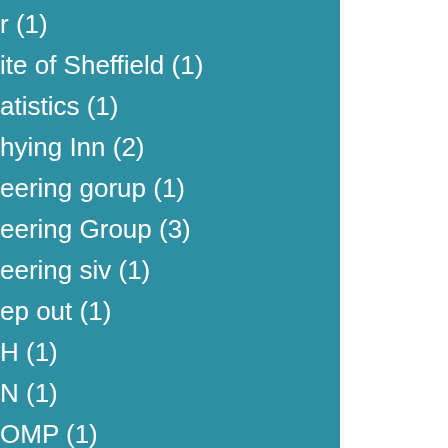r (1)
ite of Sheffield (1)
atistics (1)
hying Inn (2)
eering gorup (1)
eering Group (3)
eering siv (1)
ep out (1)
H (1)
N (1)
OMP (1)
orage (1)
ories (1)